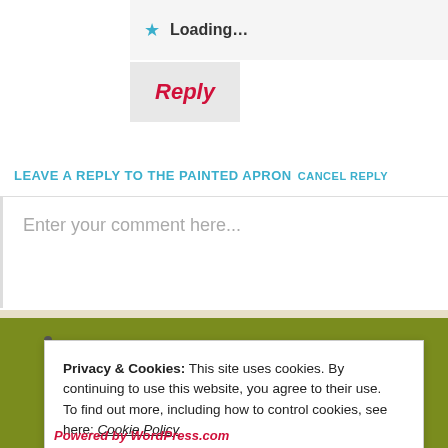Loading...
Reply
LEAVE A REPLY TO THE PAINTED APRON CANCEL REPLY
Enter your comment here...
Privacy & Cookies: This site uses cookies. By continuing to use this website, you agree to their use. To find out more, including how to control cookies, see here: Cookie Policy
Close and accept
Powered by WordPress.com